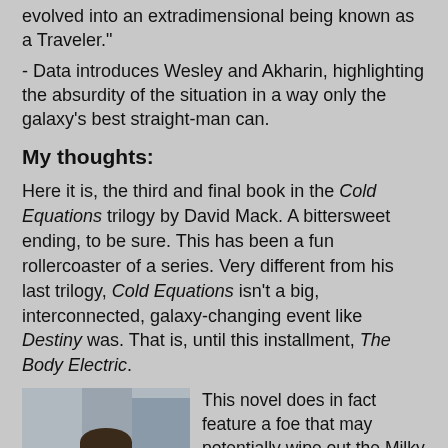evolved into an extradimensional being known as a Traveler."
- Data introduces Wesley and Akharin, highlighting the absurdity of the situation in a way only the galaxy's best straight-man can.
My thoughts:
Here it is, the third and final book in the Cold Equations trilogy by David Mack. A bittersweet ending, to be sure. This has been a fun rollercoaster of a series. Very different from his last trilogy, Cold Equations isn't a big, interconnected, galaxy-changing event like Destiny was. That is, until this installment, The Body Electric.
[Figure (photo): Photo of a young man in a Star Trek uniform (Wesley Crusher actor), looking slightly to the side, wearing a white and gold uniform jacket.]
This novel does in fact feature a foe that may potentially wipe out the Milky Way galaxy: a massive artificial construct whose purpose seems to be to destroy star systems one at a time by hurling them into a massive black hole. Wesley Crusher